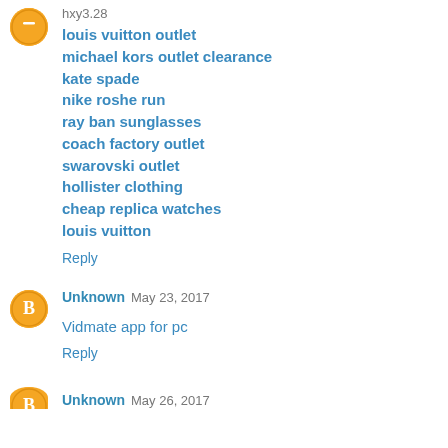hxy3.28
louis vuitton outlet
michael kors outlet clearance
kate spade
nike roshe run
ray ban sunglasses
coach factory outlet
swarovski outlet
hollister clothing
cheap replica watches
louis vuitton
Reply
Unknown  May 23, 2017
Vidmate app for pc
Reply
Unknown  May 26, 2017